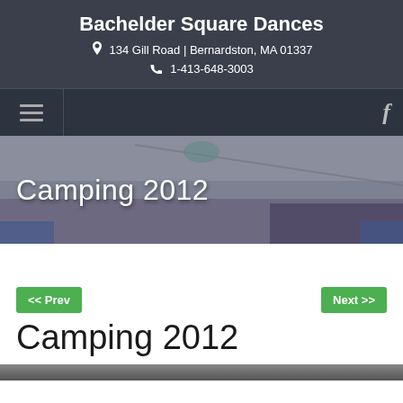Bachelder Square Dances
134 Gill Road | Bernardston, MA 01337
1-413-648-3003
[Figure (screenshot): Navigation bar with hamburger menu icon on left and Facebook icon on right, dark background]
[Figure (photo): Hero image with blurred indoor scene, overlaid with large white text 'Camping 2012']
<< Prev
Next >>
Camping 2012
[Figure (photo): Bottom strip showing the beginning of a photo gallery image]